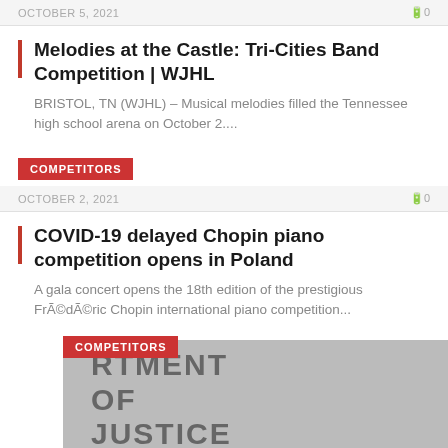OCTOBER 5, 2021   0
Melodies at the Castle: Tri-Cities Band Competition | WJHL
BRISTOL, TN (WJHL) – Musical melodies filled the Tennessee high school arena on October 2....
COMPETITORS
OCTOBER 2, 2021   0
COVID-19 delayed Chopin piano competition opens in Poland
A gala concert opens the 18th edition of the prestigious FrÃ©dÃ©ric Chopin international piano competition...
COMPETITORS
[Figure (photo): Partial view of a building or sign reading RTMENT OF JUSTICE]